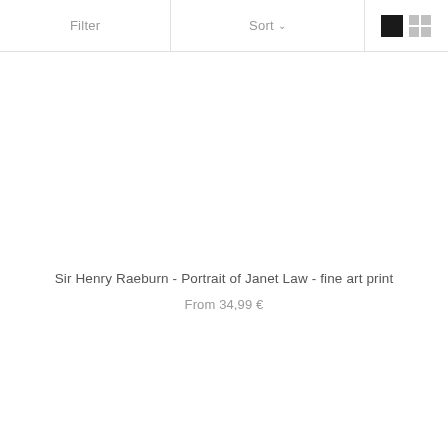Filter   Sort   [view toggle]
Sir Henry Raeburn - Portrait of Janet Law - fine art print
From 34,99 €